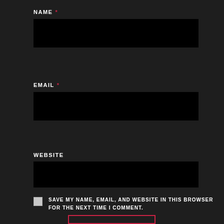NAME *
[Figure (other): Black input field box for Name]
EMAIL *
[Figure (other): Black input field box for Email]
WEBSITE
[Figure (other): Black input field box for Website]
SAVE MY NAME, EMAIL, AND WEBSITE IN THIS BROWSER FOR THE NEXT TIME I COMMENT.
[Figure (other): Red-outlined submit button at bottom]